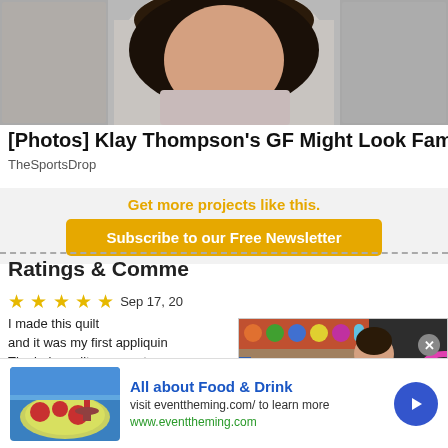[Figure (photo): Partial photo of a person at the top of the page]
[Photos] Klay Thompson's GF Might Look Familiar
TheSportsDrop
Get more projects like this.
Subscribe to our Free Newsletter
Ratings & Comme
★ ★ ★ ★ ★   Sep 17, 20
I made this quilt
and it was my first appliquin
The baby quilt came out...
—mimiquilts2 9864595
[Figure (screenshot): Video player overlay showing a woman in a red shirt in a craft store, with navigation arrows and play button]
All about Food & Drink
visit eventtheming.com/ to learn more
www.eventtheming.com